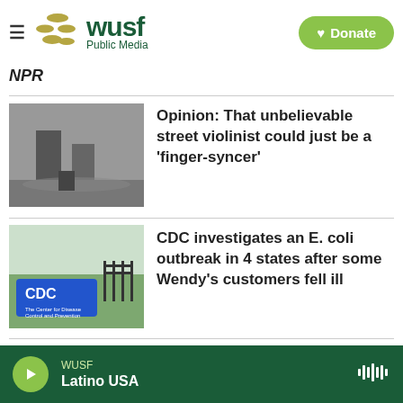WUSF Public Media
NPR
[Figure (photo): Black and white photo of a person's legs and feet on a cobblestone street, with a musical instrument case visible]
Opinion: That unbelievable street violinist could just be a 'finger-syncer'
[Figure (photo): Photo of CDC building exterior with blue CDC sign in front]
CDC investigates an E. coli outbreak in 4 states after some Wendy's customers fell ill
[Figure (photo): Photo of a store or library interior with shelves visible]
Poll: 69% of Native Americans say
WUSF Latino USA